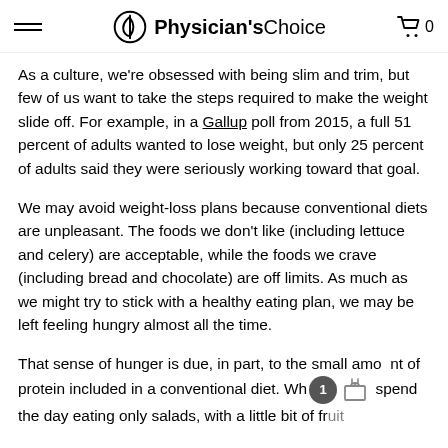Physician's Choice — cart 0
As a culture, we're obsessed with being slim and trim, but few of us want to take the steps required to make the weight slide off. For example, in a Gallup poll from 2015, a full 51 percent of adults wanted to lose weight, but only 25 percent of adults said they were seriously working toward that goal.
We may avoid weight-loss plans because conventional diets are unpleasant. The foods we don't like (including lettuce and celery) are acceptable, while the foods we crave (including bread and chocolate) are off limits. As much as we might try to stick with a healthy eating plan, we may be left feeling hungry almost all the time.
That sense of hunger is due, in part, to the small amount of protein included in a conventional diet. When spend the day eating only salads, with a little bit of fruit